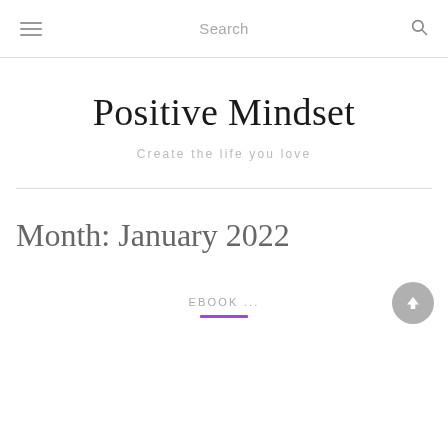Search
Positive Mindset
Create the life you love
Month: January 2022
EBOOK ...